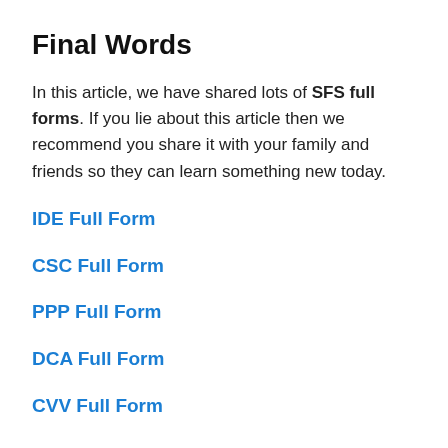Final Words
In this article, we have shared lots of SFS full forms. If you lie about this article then we recommend you share it with your family and friends so they can learn something new today.
IDE Full Form
CSC Full Form
PPP Full Form
DCA Full Form
CVV Full Form